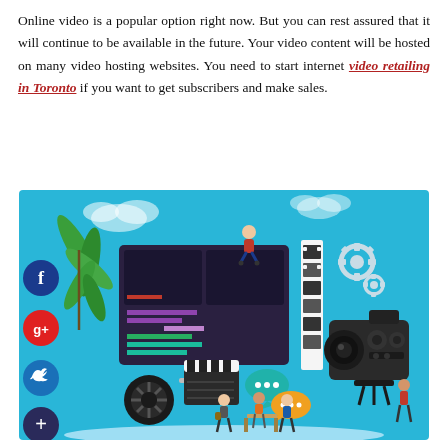Online video is a popular option right now. But you can rest assured that it will continue to be available in the future. Your video content will be hosted on many video hosting websites. You need to start internet video retailing in Toronto if you want to get subscribers and make sales.
[Figure (illustration): Colorful infographic illustration showing video production and marketing elements: a video editing interface/screen with a person sitting on top, a film reel, clapperboard, movie camera, gear icons, plant, social media icons (Facebook, Google+, Twitter, Add), speech bubbles, and a group of people working/collaborating, all on a light blue background.]